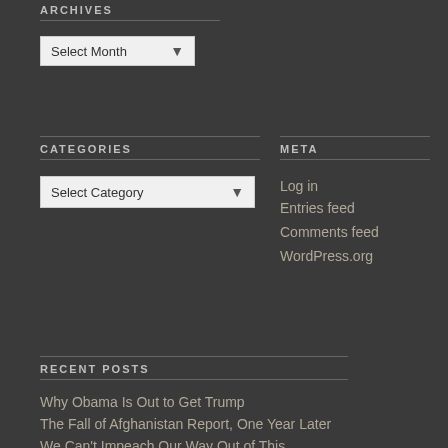ARCHIVES
Select Month
CATEGORIES
Select Category
META
Log in
Entries feed
Comments feed
WordPress.org
RECENT POSTS
Why Obama Is Out to Get Trump
The Fall of Afghanistan Report, One Year Later
We Can't Impeach Our Way Out of This